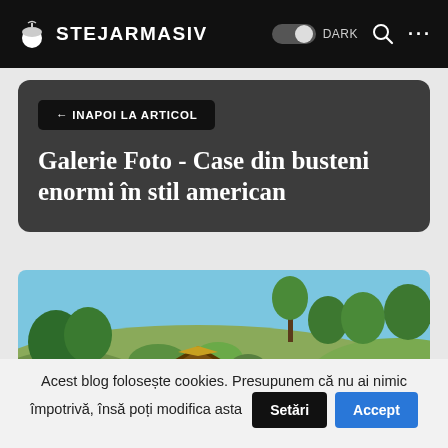STEJARMASIV
← INAPOI LA ARTICOL
Galerie Foto - Case din busteni enormi în stil american
[Figure (photo): Exterior photo of a log-style house rooftop surrounded by dense green trees and a hillside under a blue sky]
Acest blog folosește cookies. Presupunem că nu ai nimic împotrivă, însă poți modifica asta